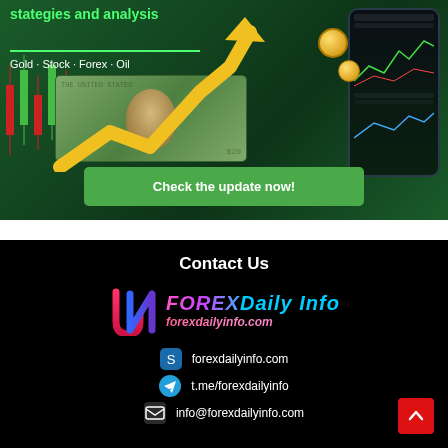[Figure (infographic): Green trading advertisement banner featuring candlestick charts, a rising gold arrow, US dollar bill, phone trading app mockup, and gold coin. Text reads 'stategies and analysis', 'Gold · Stock · Forex · Oil', and a green button 'Check the update now!']
stategies and analysis
Gold · Stock · Forex · Oil
Check the update now!
Contact Us
[Figure (logo): FOREX Daily Info logo with stylized JN monogram in red/blue gradient and colorful text 'FOREX Daily Info' with website forexdailyinfo.com below]
forexdailyinfo.com
t.me/forexdailyinfo
info@forexdailyinfo.com